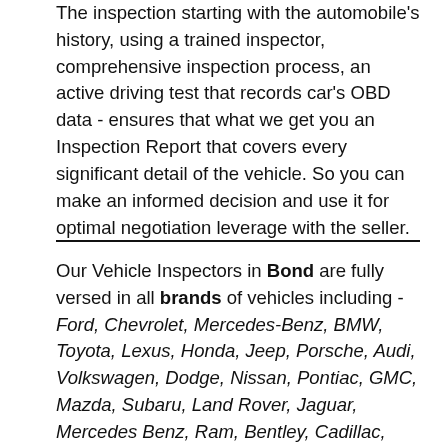The inspection starting with the automobile's history, using a trained inspector, comprehensive inspection process, an active driving test that records car's OBD data - ensures that what we get you an Inspection Report that covers every significant detail of the vehicle. So you can make an informed decision and use it for optimal negotiation leverage with the seller.
Our Vehicle Inspectors in Bond are fully versed in all brands of vehicles including - Ford, Chevrolet, Mercedes-Benz, BMW, Toyota, Lexus, Honda, Jeep, Porsche, Audi, Volkswagen, Dodge, Nissan, Pontiac, GMC, Mazda, Subaru, Land Rover, Jaguar, Mercedes Benz, Ram, Bentley, Cadillac, Hummer, Kia, Volvo,Acura, Hino, Mercedes, MINI, Mitsubishi,